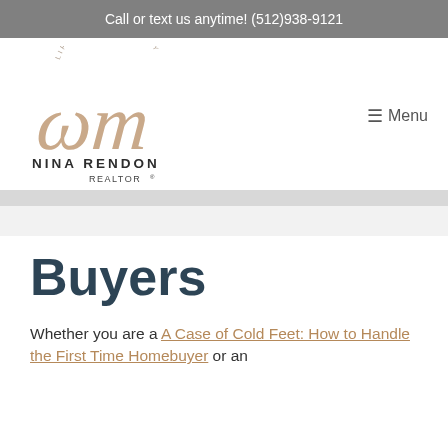Call or text us anytime! (512)938-9121
[Figure (logo): Nina Rendon Realtor logo with cursive monogram and circular 'Life in Hays County' text]
☰ Menu
Buyers
Whether you are a A Case of Cold Feet: How to Handle the First Time Homebuyer or an